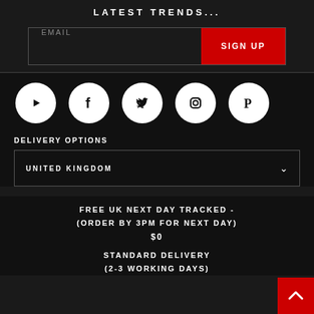LATEST TRENDS...
EMAIL
SIGN UP
[Figure (infographic): Row of 5 social media icons (YouTube, Facebook, Twitter, Instagram, Pinterest) as white circles on dark background]
DELIVERY OPTIONS
UNITED KINGDOM
FREE UK NEXT DAY TRACKED - (ORDER BY 3PM FOR NEXT DAY)
$0
STANDARD DELIVERY (2-3 WORKING DAYS)
$0.00